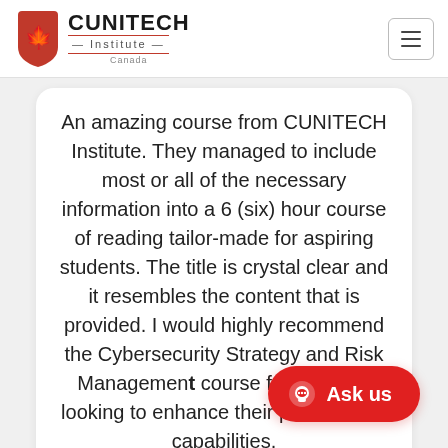CUNITECH Institute Canada
An amazing course from CUNITECH Institute. They managed to include most or all of the necessary information into a 6 (six) hour course of reading tailor-made for aspiring students. The title is crystal clear and it resembles the content that is provided. I would highly recommend the Cybersecurity Strategy and Risk Management course for anybody looking to enhance their professional capabilities.
[Figure (photo): Profile photo of a person with long dark hair and glasses, partially visible at the bottom of the page]
[Figure (other): Red Ask us chat button with speech bubble icon]